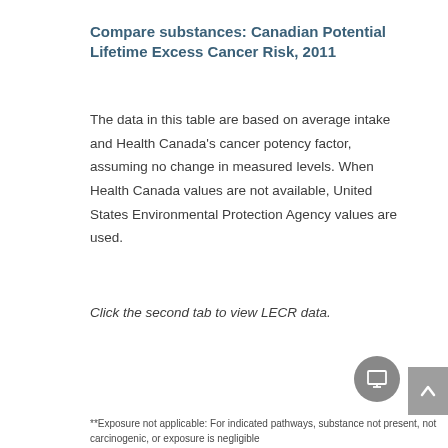Compare substances: Canadian Potential Lifetime Excess Cancer Risk, 2011
The data in this table are based on average intake and Health Canada's cancer potency factor, assuming no change in measured levels. When Health Canada values are not available, United States Environmental Protection Agency values are used.
Click the second tab to view LECR data.
*Exposure not applicable: For indicated pathways, substance not present, not carcinogenic, or exposure is negligible
**Gap in data: No cancer potency factor or unit risk factor, or no data available
IARC Group 1 = Carcinogenic to humans, IARC Group 2A = Probably carcinogenic to humans, IARC Group 2B = Possibly carcinogenic to humans
NOTE: Chromium (hexavalent) estimates assume that 5% of